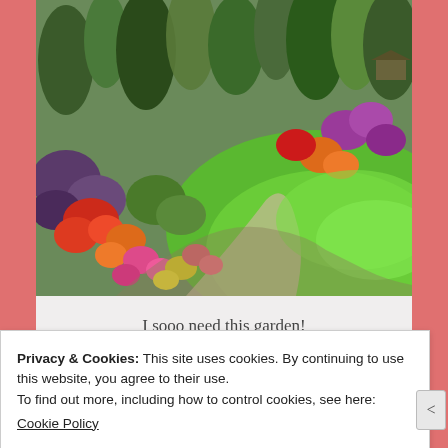[Figure (photo): A lush English garden with colorful flower borders featuring red, pink, orange, yellow and purple flowers surrounding a curved green lawn, with tall evergreen and deciduous trees in the background]
I sooo need this garden!
Thank you for reading, my friends!!
Privacy & Cookies: This site uses cookies. By continuing to use this website, you agree to their use.
To find out more, including how to control cookies, see here:
Cookie Policy
Close and accept